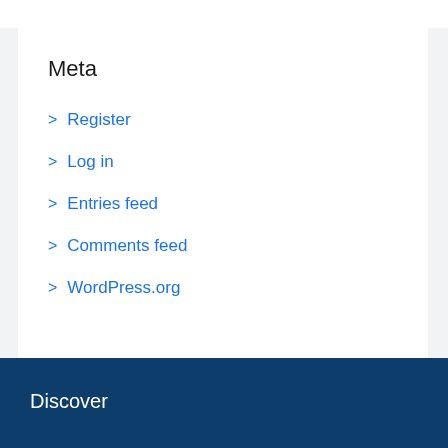Meta
Register
Log in
Entries feed
Comments feed
WordPress.org
Discover